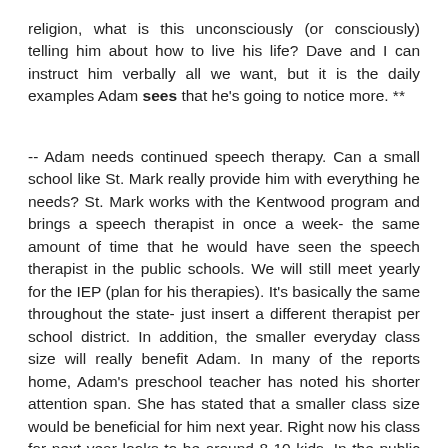religion, what is this unconsciously (or consciously) telling him about how to live his life? Dave and I can instruct him verbally all we want, but it is the daily examples Adam sees that he's going to notice more. **
-- Adam needs continued speech therapy. Can a small school like St. Mark really provide him with everything he needs? St. Mark works with the Kentwood program and brings a speech therapist in once a week- the same amount of time that he would have seen the speech therapist in the public schools. We will still meet yearly for the IEP (plan for his therapies). It's basically the same throughout the state- just insert a different therapist per school district. In addition, the smaller everyday class size will really benefit Adam. In many of the reports home, Adam's preschool teacher has noted his shorter attention span. She has stated that a smaller class size would be beneficial for him next year. Right now his class for next year looks to be around 8-10 kids. In the public schools, its guaranteed to be 20. Plus, St. Mark offers all day/ every day school versus the public